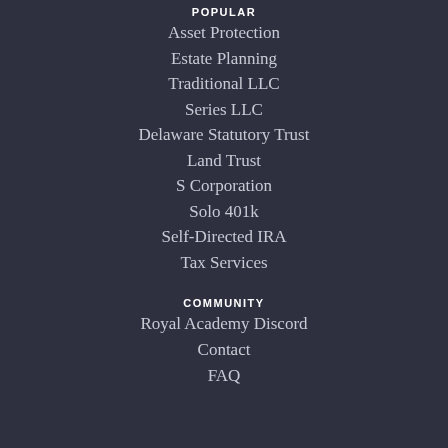POPULAR
Asset Protection
Estate Planning
Traditional LLC
Series LLC
Delaware Statutory Trust
Land Trust
S Corporation
Solo 401k
Self-Directed IRA
Tax Services
COMMUNITY
Royal Academy Discord
Contact
FAQ